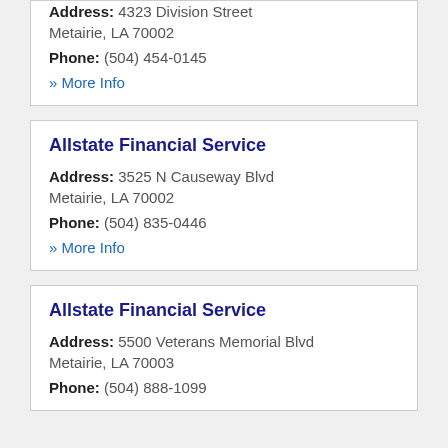Address: 4323 Division Street Metairie, LA 70002
Phone: (504) 454-0145
» More Info
Allstate Financial Service
Address: 3525 N Causeway Blvd Metairie, LA 70002
Phone: (504) 835-0446
» More Info
Allstate Financial Service
Address: 5500 Veterans Memorial Blvd Metairie, LA 70003
Phone: (504) 888-1099